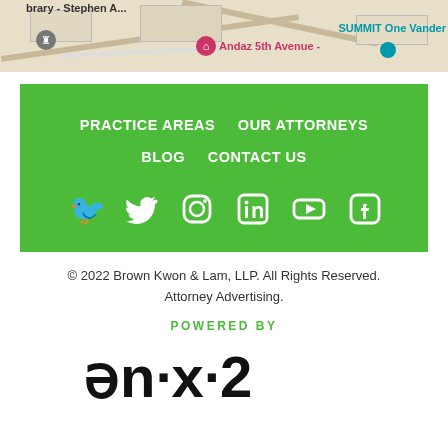[Figure (screenshot): Map screenshot showing street map with location markers including 'Andaz 5th Avenue', 'SUMMIT One Vanderbilt', and partial text 'brary - Stephen A...']
PRACTICE AREAS   OUR ATTORNEYS
BLOG   CONTACT US
[Figure (illustration): Social media icons: Twitter, Instagram, LinkedIn, YouTube, Facebook — white on green background]
© 2022 Brown Kwon & Lam, LLP. All Rights Reserved. Attorney Advertising.
POWERED BY
[Figure (logo): ən·x·2 logo in bold black text]